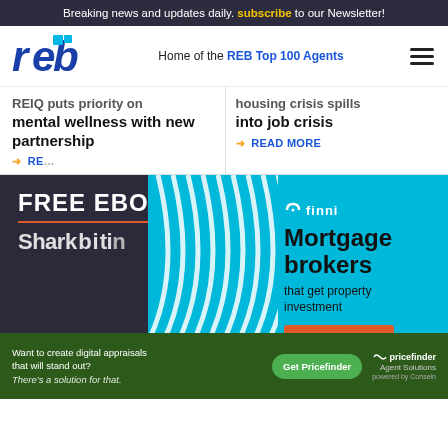Breaking news and updates daily. subscribe to our Newsletter!
[Figure (logo): REB logo - red/blue stylized letters 'reb']
Home of the REB Top 100 Agents
REIQ puts priority on mental wellness with new partnership
READ MORE
housing crisis spills into job crisis
READ MORE
[Figure (infographic): Finni mortgage brokers advertisement - cyan/blue background with decorative white wave lines on left, text 'Mortgage brokers that get property investment' and orange button 'Book a call today']
Free Ebook
[Figure (infographic): Pricefinder Agent Solutions bottom banner advertisement on dark green background - 'Want to create digital appraisals that will stand out? There's a solution for that.' with green 'Get Pricefinder' button and Pricefinder Agent Solutions logo]